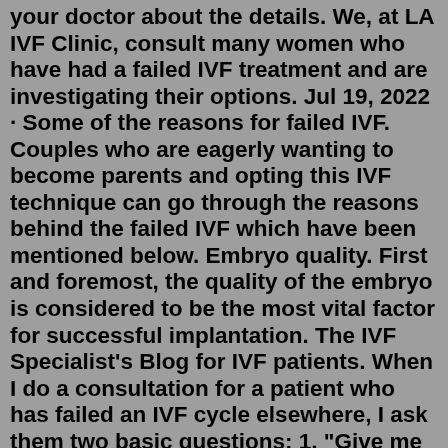your doctor about the details. We, at LA IVF Clinic, consult many women who have had a failed IVF treatment and are investigating their options. Jul 19, 2022 · Some of the reasons for failed IVF. Couples who are eagerly wanting to become parents and opting this IVF technique can go through the reasons behind the failed IVF which have been mentioned below. Embryo quality. First and foremost, the quality of the embryo is considered to be the most vital factor for successful implantation. The IVF Specialist's Blog for IVF patients. When I do a consultation for a patient who has failed an IVF cycle elsewhere, I ask them two basic questions: 1. "Give me your treatment summary", and 2...Jul 01, 2014 · Give yourself a week or so to get through this before you decide what to do next. Many women who have had an failed IVF cycle will be successful on a second or even a third cycle. Not all the issues that influence IVF success can be corrected, but some can be addressed to help make the next cycle more likely to result in a pregnancy. Preimplantation Genetic